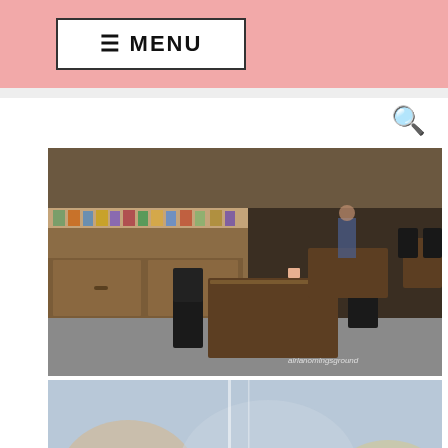≡ MENU
[Figure (screenshot): Search icon (magnifying glass) on white background]
[Figure (photo): Cafe interior with wooden tables, black chairs, and shelves with products in the background. Watermark text 'airianomingsground' visible.]
[Figure (photo): Close-up of two decorative pastries resembling fruits — one peach/apple shaped in orange-red and one lemon/citrus shaped in yellow — displayed in a glass case with a chalkboard price sign. Watermark text 'airianomingsground' visible.]
Your Everything Salon
Hair Cuttery